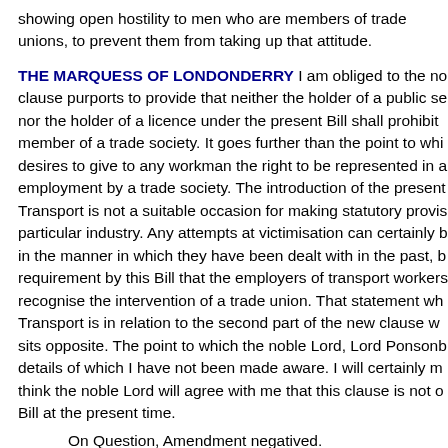showing open hostility to men who are members of trade unions, to prevent them from taking up that attitude.
THE MARQUESS OF LONDONDERRY I am obliged to the noble Lord. The clause purports to provide that neither the holder of a public service vehicle licence nor the holder of a licence under the present Bill shall prohibit a workman from being a member of a trade society. It goes further than the point to which the noble Lord desires to give to any workman the right to be represented in all matters affecting his employment by a trade society. The introduction of the present clause in the Road Transport is not a suitable occasion for making statutory provisions applicable to this particular industry. Any attempts at victimisation can certainly be dealt with as they have been dealt with in the manner in which they have been dealt with in the past, but there is no requirement by this Bill that the employers of transport workers should be required to recognise the intervention of a trade union. That statement which the Minister of Transport is in relation to the second part of the new clause which the noble Lord who sits opposite. The point to which the noble Lord, Lord Ponsonby, refers refers to details of which I have not been made aware. I will certainly make enquiries, and I think the noble Lord will agree with me that this clause is not one that can go into the Bill at the present time.
On Question, Amendment negatived.